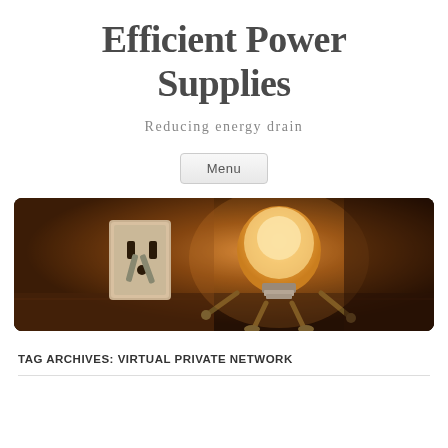Efficient Power Supplies
Reducing energy drain
Menu
[Figure (photo): A glowing light bulb character plugging itself into a wall socket, warm amber lighting on a wooden surface background]
TAG ARCHIVES: VIRTUAL PRIVATE NETWORK